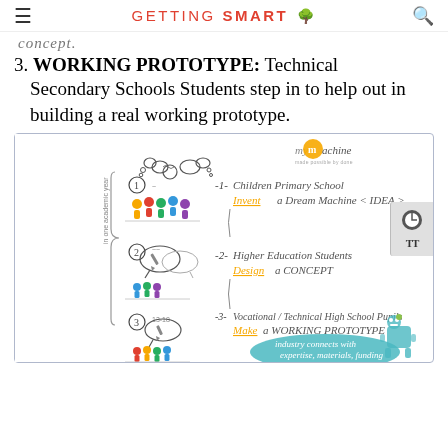GETTING SMART
concept.
3. WORKING PROTOTYPE: Technical Secondary Schools Students step in to help out in building a real working prototype.
[Figure (illustration): myMachine infographic showing three steps: (1) Children Primary School Invent a Dream Machine (IDEA), (2) Higher Education Students Design a CONCEPT, (3) Vocational / Technical High School Pupils Make a WORKING PROTOTYPE, with a note that industry connects with expertise, materials, funding. All in one academic year.]